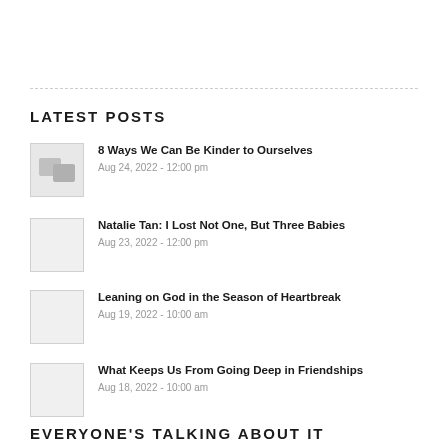LATEST POSTS
8 Ways We Can Be Kinder to Ourselves | Aug 24, 2022 - 12:00 pm
Natalie Tan: I Lost Not One, But Three Babies | Aug 23, 2022 - 12:00 pm
Leaning on God in the Season of Heartbreak | Aug 19, 2022 - 10:00 am
What Keeps Us From Going Deep in Friendships | Aug 18, 2022 - 10:00 am
EVERYONE'S TALKING ABOUT IT